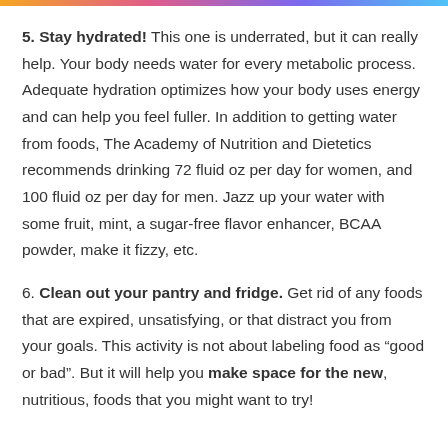5. Stay hydrated! This one is underrated, but it can really help. Your body needs water for every metabolic process. Adequate hydration optimizes how your body uses energy and can help you feel fuller. In addition to getting water from foods, The Academy of Nutrition and Dietetics recommends drinking 72 fluid oz per day for women, and 100 fluid oz per day for men. Jazz up your water with some fruit, mint, a sugar-free flavor enhancer, BCAA powder, make it fizzy, etc.
6. Clean out your pantry and fridge. Get rid of any foods that are expired, unsatisfying, or that distract you from your goals. This activity is not about labeling food as “good or bad”. But it will help you make space for the new, nutritious, foods that you might want to try!